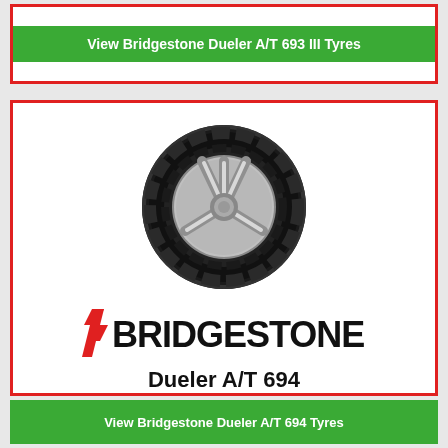View Bridgestone Dueler A/T 693 III Tyres
[Figure (photo): Bridgestone Dueler A/T 694 tyre with silver alloy wheel, front 3/4 view on white background]
[Figure (logo): Bridgestone logo with red stylized 'B' and bold black BRIDGESTONE lettering]
Dueler A/T 694
View Bridgestone Dueler A/T 694 Tyres